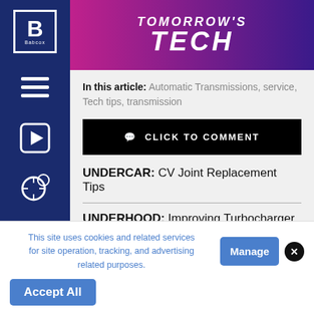TOMORROW'S TECH
In this article: Automatic Transmissions, service, Tech tips, transmission
CLICK TO COMMENT
UNDERCAR: CV Joint Replacement Tips
UNDERHOOD: Improving Turbocharger
This site uses cookies and related services for site operation, tracking, and advertising related purposes.
Manage
Accept All